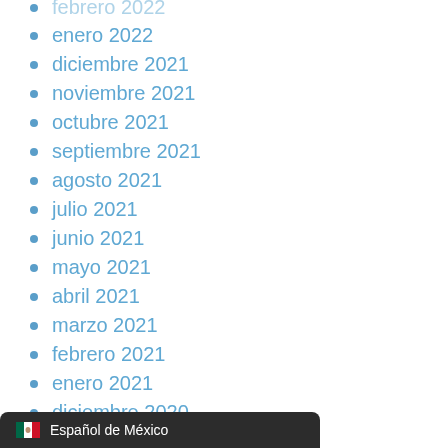febrero 2022
enero 2022
diciembre 2021
noviembre 2021
octubre 2021
septiembre 2021
agosto 2021
julio 2021
junio 2021
mayo 2021
abril 2021
marzo 2021
febrero 2021
enero 2021
diciembre 2020
noviembre 2020
octubre 2020
septiembre 2020
agosto 2020
Español de México